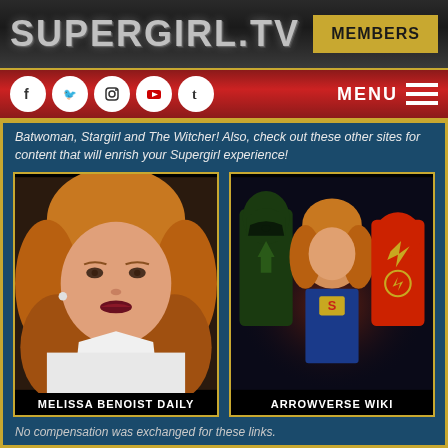SUPERGIRL.TV
MEMBERS
[Figure (screenshot): Navigation bar with social media icons (Facebook, Twitter, Instagram, YouTube, Tumblr) and MENU hamburger button on red gradient background]
Batwoman, Stargirl and The Witcher! Also, check out these other sites for content that will enrish your Supergirl experience!
[Figure (photo): Portrait photo of Melissa Benoist with label MELISSA BENOIST DAILY]
[Figure (photo): Group promotional photo of Arrow, Supergirl, and The Flash heroes with label ARROWVERSE WIKI]
No compensation was exchanged for these links.